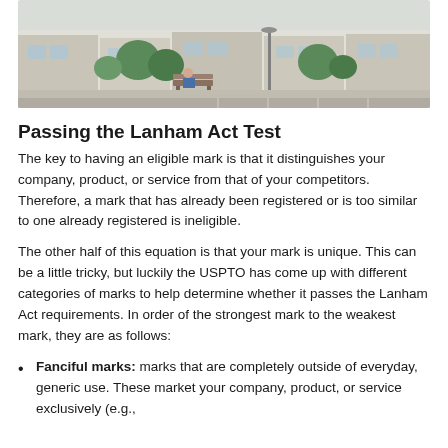[Figure (photo): Outdoor street scene showing a park bench, trees, and storefronts in the background]
Passing the Lanham Act Test
The key to having an eligible mark is that it distinguishes your company, product, or service from that of your competitors. Therefore, a mark that has already been registered or is too similar to one already registered is ineligible.
The other half of this equation is that your mark is unique. This can be a little tricky, but luckily the USPTO has come up with different categories of marks to help determine whether it passes the Lanham Act requirements. In order of the strongest mark to the weakest mark, they are as follows:
Fanciful marks: marks that are completely outside of everyday, generic use. These market your company, product, or service exclusively (e.g.,